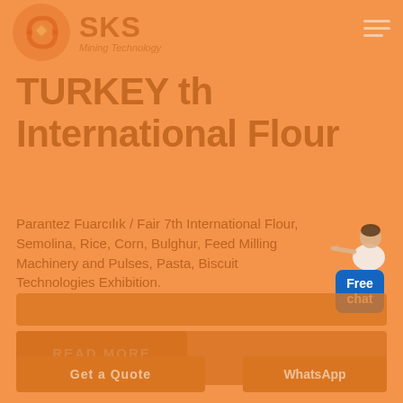[Figure (logo): SKS Mining Technology logo with circular arrow icon and text]
TURKEY th International Flour
Parantez Fuarcılık / Fair 7th International Flour, Semolina, Rice, Corn, Bulghur, Feed Milling Machinery and Pulses, Pasta, Biscuit Technologies Exhibition.
[Figure (illustration): Free chat widget with female customer service figure and blue Free chat button]
[Figure (photo): READ MORE button area]
[Figure (photo): Image strip / banner below read more]
[Figure (photo): Get a Quote button]
[Figure (photo): WhatsApp button]